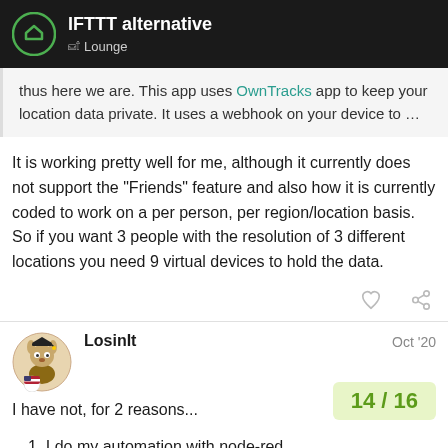IFTTT alternative — Lounge
thus here we are. This app uses OwnTracks app to keep your location data private. It uses a webhook on your device to …
It is working pretty well for me, although it currently does not support the "Friends" feature and also how it is currently coded to work on a per person, per region/location basis. So if you want 3 people with the resolution of 3 different locations you need 9 virtual devices to hold the data.
LosinIt  Oct '20
I have not, for 2 reasons...
14 / 16
1. I do my automation with node-red